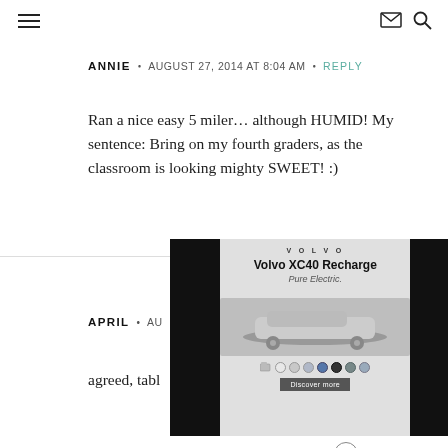Navigation menu, email icon, search icon
ANNIE • AUGUST 27, 2014 AT 8:04 AM • REPLY
Ran a nice easy 5 miler… although HUMID! My sentence: Bring on my fourth graders, as the classroom is looking mighty SWEET! :)
[Figure (other): Advertisement overlay for Volvo XC40 Recharge Pure Electric with close button, black side panels, and color selection dots]
APRIL • AU
agreed, tabl